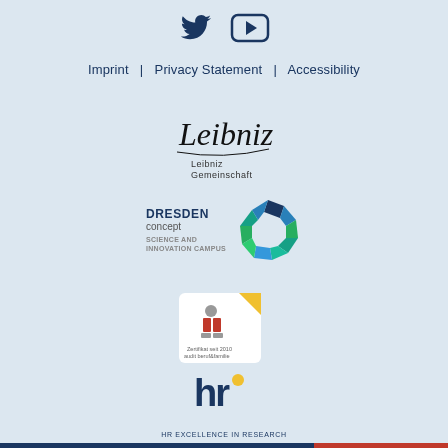[Figure (logo): Twitter bird icon and YouTube play button icon in dark navy blue]
Imprint  |  Privacy Statement  |  Accessibility
[Figure (logo): Leibniz Gemeinschaft logo — handwritten script signature over printed text 'Leibniz Gemeinschaft']
[Figure (logo): DRESDEN concept Science and Innovation Campus logo with colorful octagon shape]
[Figure (logo): Audit berufundfamilie certificate logo — Zertifikat seit 2010 audit beruf&familie]
[Figure (logo): HR Excellence in Research logo — blue stylized hr letters with yellow dot, text HR EXCELLENCE IN RESEARCH below]